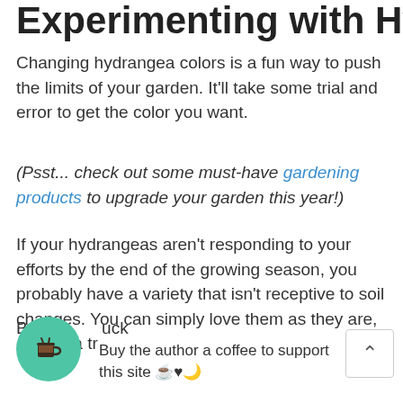Experimenting with Hydrangeas
Changing hydrangea colors is a fun way to push the limits of your garden. It'll take some trial and error to get the color you want.
(Psst... check out some must-have gardening products to upgrade your garden this year!)
If your hydrangeas aren't responding to your efforts by the end of the growing season, you probably have a variety that isn't receptive to soil changes. You can simply love them as they are, or take a trip out to your local plant n… plant.
Buy the author a coffee to support this site ☕♥🌙